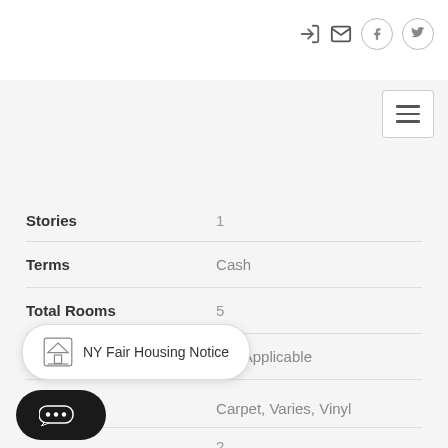Navigation icons and menu
| Field | Value |
| --- | --- |
| Stories | 1 |
| Terms | Cash |
| Total Rooms | 5 |
| Township | Not Applicable |
Interior Features
| Field | Value |
| --- | --- |
| Flooring | Carpet, Varies, Vinyl |
|  | 2 |
NY Fair Housing Notice
[Figure (screenshot): Chat widget bubble with three dots]